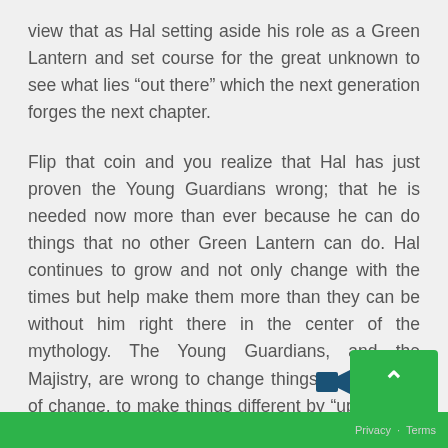view that as Hal setting aside his role as a Green Lantern and set course for the great unknown to see what lies “out there” which the next generation forges the next chapter.

Flip that coin and you realize that Hal has just proven the Young Guardians wrong; that he is needed now more than ever because he can do things that no other Green Lantern can do. Hal continues to grow and not only change with the times but help make them more than they can be without him right there in the center of the mythology. The Young Guardians, and the Majistry, are wrong to change things for the sake of change, to make things different by “upgrading” them that they no longer represent the values that make them what they are. This conclusion ends with Hal